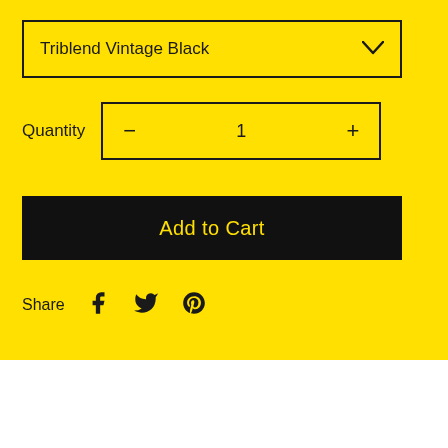Triblend Vintage Black
Quantity  1
Add to Cart
Share